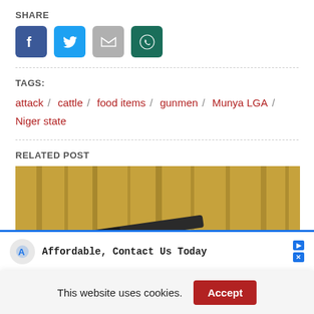SHARE
[Figure (other): Social media share icons: Facebook (blue), Twitter (blue), Gmail (gray), WhatsApp (dark green)]
TAGS:
attack / cattle / food items / gunmen / Munya LGA / Niger state
RELATED POST
[Figure (photo): Photo of a rifle/gun with blurred forest background]
Affordable, Contact Us Today
This website uses cookies. Accept